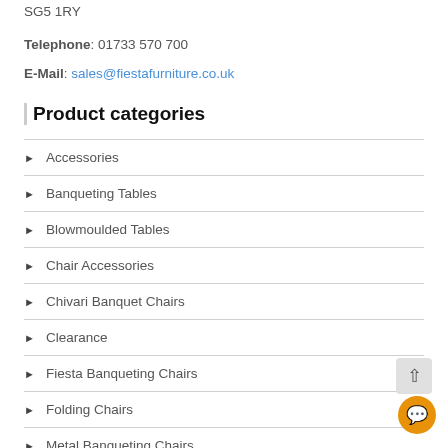SG5 1RY
Telephone: 01733 570 700
E-Mail: sales@fiestafurniture.co.uk
Product categories
Accessories
Banqueting Tables
Blowmoulded Tables
Chair Accessories
Chivari Banquet Chairs
Clearance
Fiesta Banqueting Chairs
Folding Chairs
Metal Banqueting Chairs